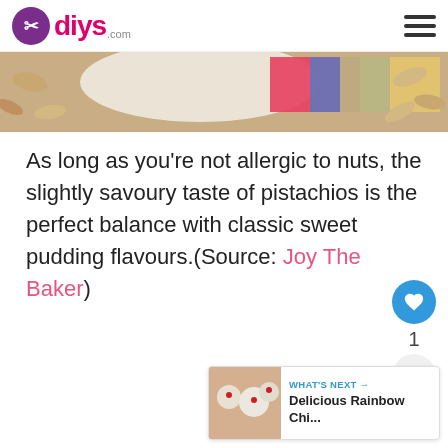diys.com
[Figure (photo): Partial view of a dish with pistachios and colorful background elements]
As long as you’re not allergic to nuts, the slightly savoury taste of pistachios is the perfect balance with classic sweet pudding flavours.(Source: Joy The Baker)
[Figure (other): Heart/like button (blue circle with heart icon) with count of 1, and a share button below]
[Figure (other): What's Next panel with thumbnail showing Rainbow Chi... dessert]